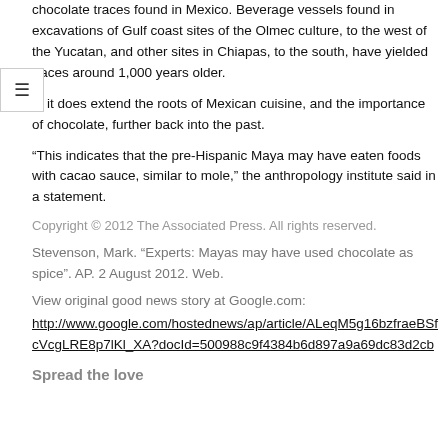chocolate traces found in Mexico. Beverage vessels found in excavations of Gulf coast sites of the Olmec culture, to the west of the Yucatan, and other sites in Chiapas, to the south, have yielded traces around 1,000 years older.
ut it does extend the roots of Mexican cuisine, and the importance of chocolate, further back into the past.
“This indicates that the pre-Hispanic Maya may have eaten foods with cacao sauce, similar to mole,” the anthropology institute said in a statement.
Copyright © 2012 The Associated Press. All rights reserved.
Stevenson, Mark. “Experts: Mayas may have used chocolate as spice”. AP. 2 August 2012. Web.
View original good news story at Google.com:
http://www.google.com/hostednews/ap/article/ALeqM5g16bzfraeBSfcVcgLRE8p7lKl_XA?docId=500988c9f4384b6d897a9a69dc83d2cb
Spread the love